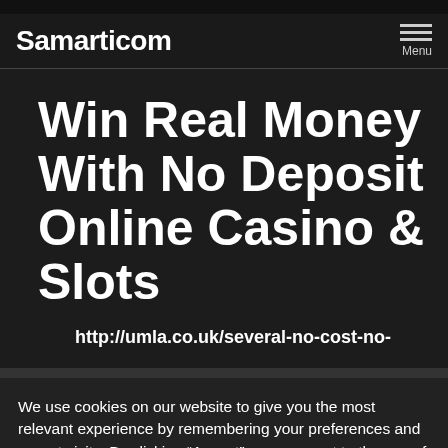Samarticom
Win Real Money With No Deposit Online Casino & Slots
http://umla.co.uk/several-no-cost-no-
We use cookies on our website to give you the most relevant experience by remembering your preferences and repeat visits. By clicking “Accept”, you consent to the use of ALL the cookies and Privacy Policy .
Cookie settings
Accept